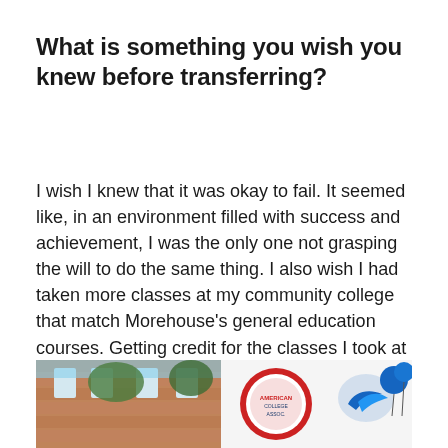What is something you wish you knew before transferring?
I wish I knew that it was okay to fail. It seemed like, in an environment filled with success and achievement, I was the only one not grasping the will to do the same thing. I also wish I had taken more classes at my community college that match Morehouse's general education courses. Getting credit for the classes I took at Richard Bland has been extremely challenging.
[Figure (photo): Photograph showing a brick building exterior with trees and blue sky on the left, and a banner/sign with a circular logo and a blue bird logo on the right, with blue balloons visible.]